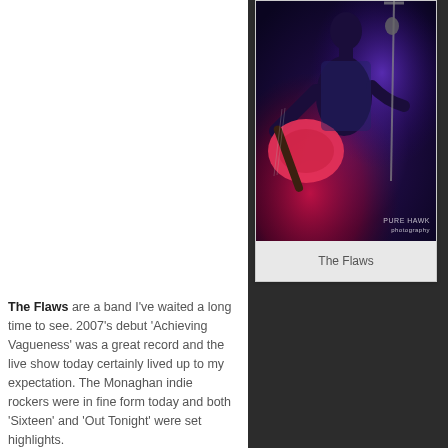[Figure (photo): A musician playing guitar on stage under purple/blue and red lighting, with a microphone stand visible. Watermark reads 'PURE HAWK' with additional text below.]
The Flaws
The Flaws are a band I've waited a long time to see. 2007's debut 'Achieving Vagueness' was a great record and the live show today certainly lived up to my expectation. The Monaghan indie rockers were in fine form today and both 'Sixteen' and 'Out Tonight' were set highlights.
They did however give out to me for being on my phone but I'm way too nice to mention that!
Producer/DJ/Multi-instrumentalist Daithi takes advantage of the worsening conditions and performs to a full Beer Halle which at this stage had makeshift